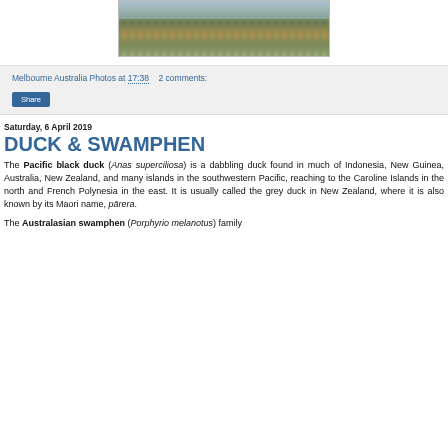[Figure (photo): Landscape photo showing a lake or wetland area with greenery and distant buildings]
Melbourne Australia Photos at 17:38   2 comments:
Share
Saturday, 6 April 2019
DUCK & SWAMPHEN
The Pacific black duck (Anas superciliosa) is a dabbling duck found in much of Indonesia, New Guinea, Australia, New Zealand, and many islands in the southwestern Pacific, reaching to the Caroline Islands in the north and French Polynesia in the east. It is usually called the grey duck in New Zealand, where it is also known by its Maori name, pārera.
The Australasian swamphen (Porphyrio melanotus) family